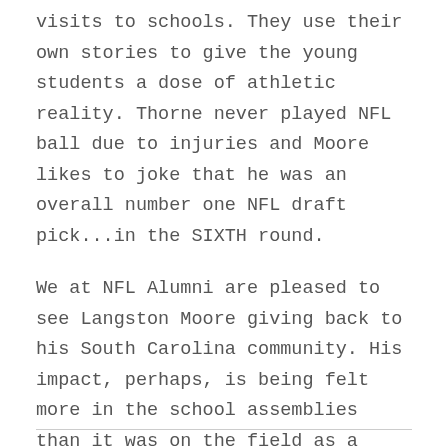visits to schools. They use their own stories to give the young students a dose of athletic reality. Thorne never played NFL ball due to injuries and Moore likes to joke that he was an overall number one NFL draft pick...in the SIXTH round.
We at NFL Alumni are pleased to see Langston Moore giving back to his South Carolina community. His impact, perhaps, is being felt more in the school assemblies than it was on the field as a player. That's a GOOD thing!